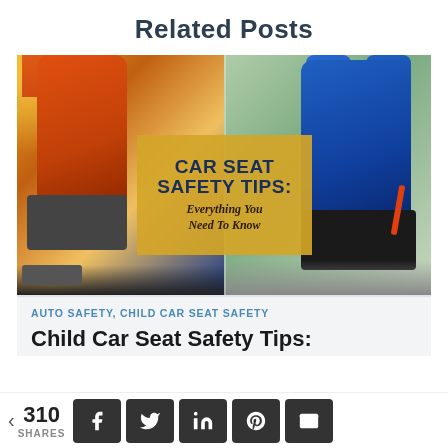Related Posts
[Figure (photo): Two car seats side by side — orange booster seat on left, blue car seat on right — with overlay text box reading 'CAR SEAT SAFETY TIPS: Everything You Need To Know']
AUTO SAFETY, CHILD CAR SEAT SAFETY
Child Car Seat Safety Tips:
< 310 SHARES